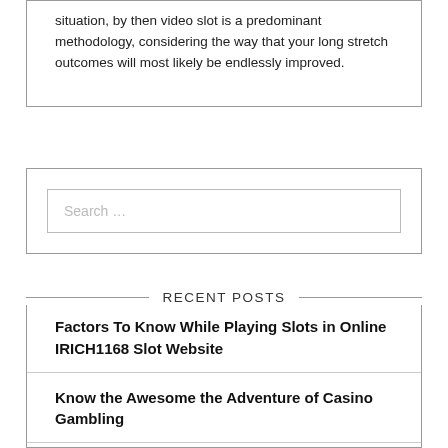situation, by then video slot is a predominant methodology, considering the way that your long stretch outcomes will most likely be endlessly improved.
Search …
RECENT POSTS
Factors To Know While Playing Slots in Online IRICH1168 Slot Website
Know the Awesome the Adventure of Casino Gambling
How to win a slot betting machine games?
Factors that are some common in Slot Gambling Site